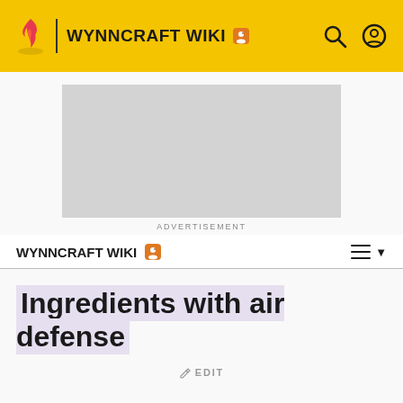WYNNCRAFT WIKI
[Figure (screenshot): Advertisement placeholder box (grey rectangle)]
ADVERTISEMENT
WYNNCRAFT WIKI
Ingredients with air defense
EDIT
This is a list of all locally recorded Crafting Ingredients with the air defense identification.
The air defense identification increases or decreases by